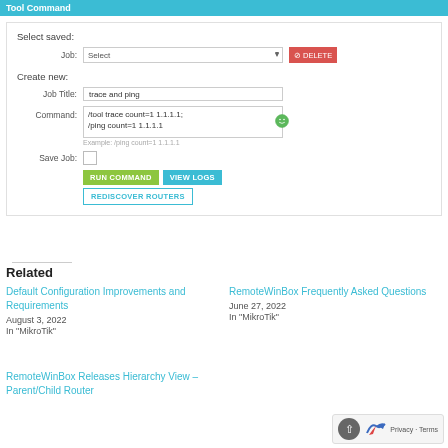[Figure (screenshot): Screenshot of a web tool interface for running MikroTik router commands. Shows 'Select saved:' section with Job dropdown and DELETE button, and 'Create new:' section with Job Title field (value: 'trace and ping'), Command textarea ('/tool trace count=1 1.1.1.1; /ping count=1 1.1.1.1'), Save Job checkbox, and buttons: RUN COMMAND, VIEW LOGS, REDISCOVER ROUTERS.]
Related
Default Configuration Improvements and Requirements
August 3, 2022
In "MikroTik"
RemoteWinBox Frequently Asked Questions
June 27, 2022
In "MikroTik"
RemoteWinBox Releases Hierarchy View – Parent/Child Router